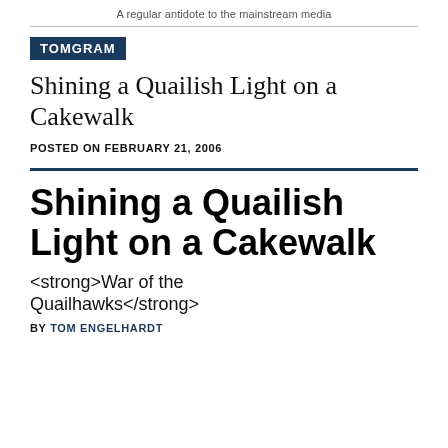A regular antidote to the mainstream media
TOMGRAM
Shining a Quailish Light on a Cakewalk
POSTED ON FEBRUARY 21, 2006
Shining a Quailish Light on a Cakewalk
<strong>War of the Quailhawks</strong>
BY TOM ENGELHARDT